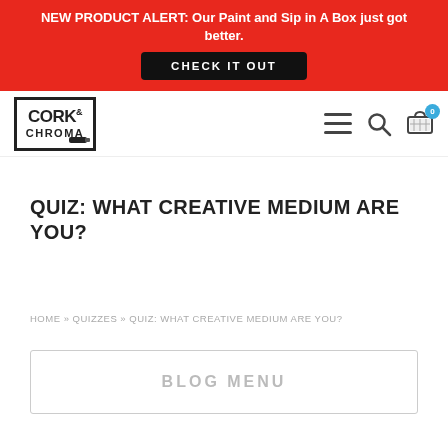NEW PRODUCT ALERT: Our Paint and Sip in A Box just got better. CHECK IT OUT
[Figure (logo): Cork & Chroma logo with black border box]
QUIZ: WHAT CREATIVE MEDIUM ARE YOU?
HOME » QUIZZES » QUIZ: WHAT CREATIVE MEDIUM ARE YOU?
BLOG MENU